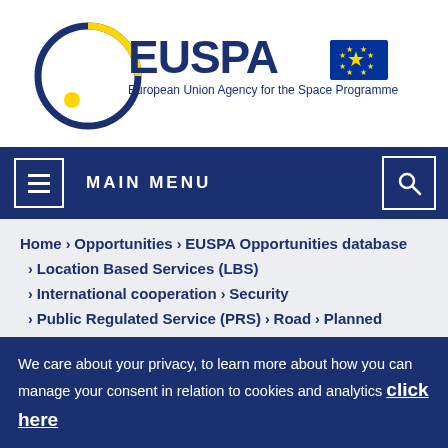[Figure (logo): EUSPA logo — European Union Agency for the Space Programme with EU flag]
MAIN MENU
Home > Opportunities > EUSPA Opportunities database > Location Based Services (LBS) > International cooperation > Security > Public Regulated Service (PRS) > Road > Planned
We care about your privacy, to learn more about how you can manage your consent in relation to cookies and analytics click here